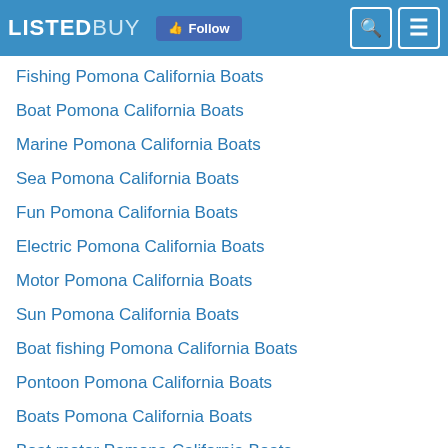LISTEDBUY Follow
Fishing Pomona California Boats
Boat Pomona California Boats
Marine Pomona California Boats
Sea Pomona California Boats
Fun Pomona California Boats
Electric Pomona California Boats
Motor Pomona California Boats
Sun Pomona California Boats
Boat fishing Pomona California Boats
Pontoon Pomona California Boats
Boats Pomona California Boats
Boat motor Pomona California Boats
Live Pomona California Boats
Bayliner Pomona California Boats
Wellcraft Pomona California Boats
Bayliner Pomona California Boats (partial)